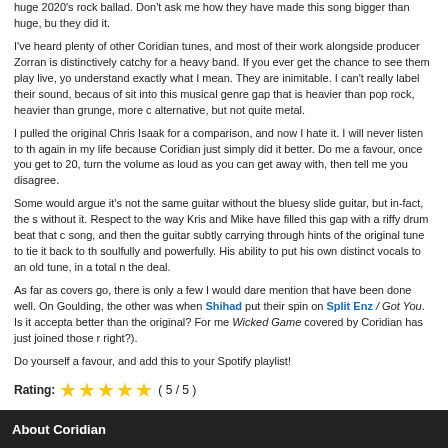huge 2020's rock ballad. Don't ask me how they have made this song bigger than huge, but they did it.
I've heard plenty of other Coridian tunes, and most of their work alongside producer Zorran is distinctively catchy for a heavy band. If you ever get the chance to see them play live, you understand exactly what I mean. They are inimitable. I can't really label their sound, because of sit into this musical genre gap that is heavier than pop rock, heavier than grunge, more c alternative, but not quite metal.
I pulled the original Chris Isaak for a comparison, and now I hate it. I will never listen to the again in my life because Coridian just simply did it better. Do me a favour, once you get to 2 20, turn the volume as loud as you can get away with, then tell me you disagree.
Some would argue it's not the same guitar without the bluesy slide guitar, but in-fact, the so without it. Respect to the way Kris and Mike have filled this gap with a riffy drum beat that ca song, and then the guitar subtly carrying through hints of the original tune to tie it back to th soulfully and powerfully. His ability to put his own distinct vocals to an old tune, in a total ne the deal.
As far as covers go, there is only a few I would dare mention that have been done well. One Goulding, the other was when Shihad put their spin on Split Enz / Got You. Is it accepta better than the original? For me Wicked Game covered by Coridian has just joined those ra right?).
Do yourself a favour, and add this to your Spotify playlist!
Rating: ★★★★★ ( 5 / 5 )
Share
About Coridian